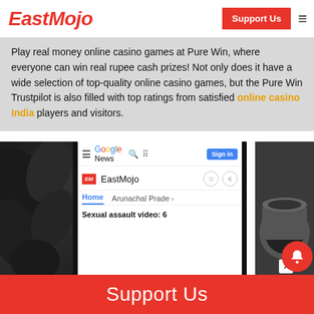EastMojo | Support Us
Play real money online casino games at Pure Win, where everyone can win real rupee cash prizes! Not only does it have a wide selection of top-quality online casino games, but the Pure Win Trustpilot is also filled with top ratings from satisfied online casino India players and visitors.
[Figure (screenshot): Screenshot of EastMojo on Google News app interface, showing Google News header with Sign in button, EastMojo logo and name with bookmark and share icons, Home and Arunachal Pradesh tabs, and a partial story headline 'Sexual assault video: 6'. The screenshot is framed by dark phone borders, with a dark leaf/flower photo on the left and a dark coffee cup on the right.]
Support Us